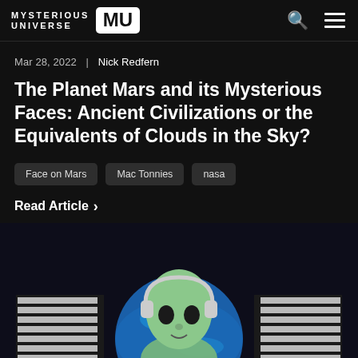MYSTERIOUS UNIVERSE MU
Mar 28, 2022  |  Nick Redfern
The Planet Mars and its Mysterious Faces: Ancient Civilizations or the Equivalents of Clouds in the Sky?
Face on Mars
Mac Tonnies
nasa
Read Article ›
[Figure (illustration): Alien figure wearing headphones in front of a blue globe, in a dark sci-fi setting with striped panels on sides]